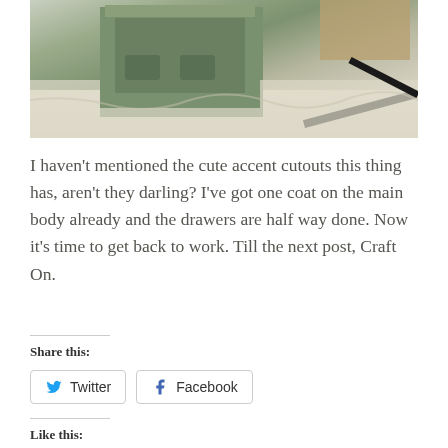[Figure (photo): A green painted wooden furniture piece (step stool or small cabinet) with decorative cutouts, sitting on a drop cloth on a floor during a painting/crafting project.]
I haven't mentioned the cute accent cutouts this thing has, aren't they darling?  I've got one coat on the main body already and the drawers are half way done.  Now it's time to get back to work.  Till the next post, Craft On.
Share this:
Twitter
Facebook
Like this: